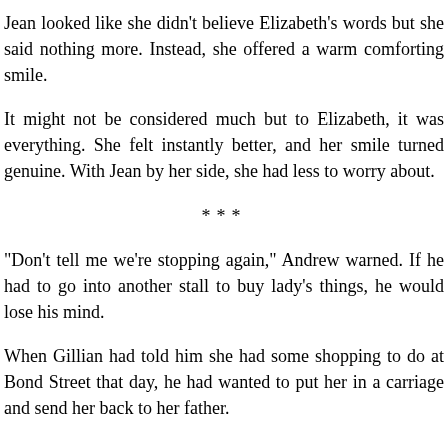Jean looked like she didn't believe Elizabeth's words but she said nothing more. Instead, she offered a warm comforting smile.
It might not be considered much but to Elizabeth, it was everything. She felt instantly better, and her smile turned genuine. With Jean by her side, she had less to worry about.
***
“Don’t tell me we’re stopping again,” Andrew warned. If he had to go into another stall to buy lady’s things, he would lose his mind.
When Gillian had told him she had some shopping to do at Bond Street that day, he had wanted to put her in a carriage and send her back to her father.